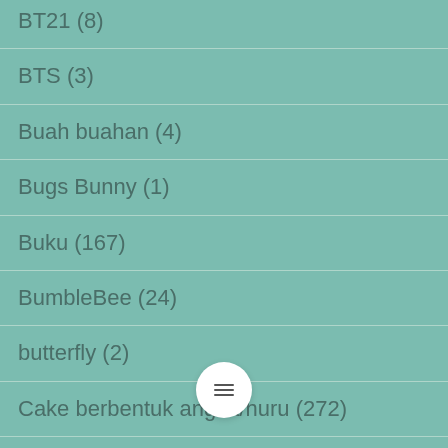BT21 (8)
BTS (3)
Buah buahan (4)
Bugs Bunny (1)
Buku (167)
BumbleBee (24)
butterfly (2)
Cake berbentuk angka/huru (272)
cakepops (31)